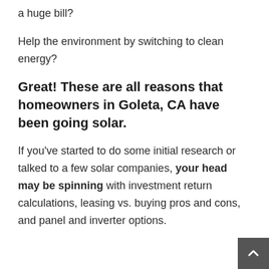a huge bill?
Help the environment by switching to clean energy?
Great! These are all reasons that homeowners in Goleta, CA have been going solar.
If you've started to do some initial research or talked to a few solar companies, your head may be spinning with investment return calculations, leasing vs. buying pros and cons, and panel and inverter options.